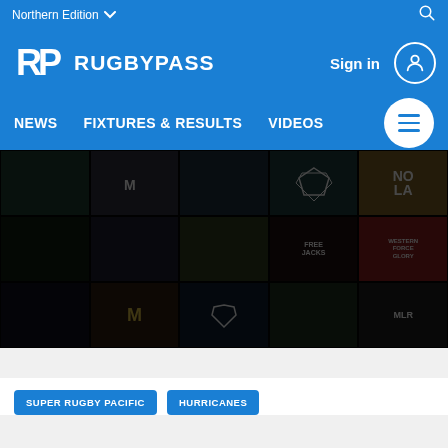Northern Edition
[Figure (logo): RugbyPass logo - stylized RP letters in white with RUGBYPASS text]
Sign in
NEWS   FIXTURES & RESULTS   VIDEOS
[Figure (photo): Dark hero banner showing a collage of rugby team logos on colored tile backgrounds including NOLA, Free Jacks, Western Force Glory, and MLR logos]
SUPER RUGBY PACIFIC
HURRICANES